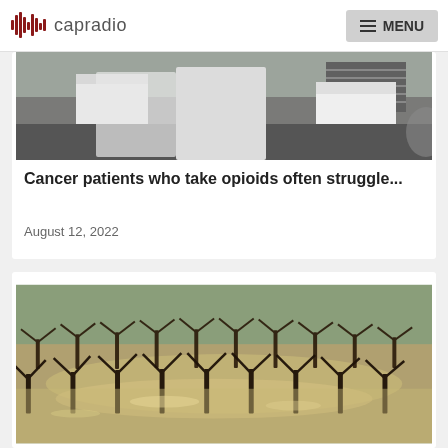capradio  MENU
[Figure (photo): Photo of people in white lab coats in a medical/kitchen setting, viewed from behind, near a counter with equipment]
Cancer patients who take opioids often struggle...
August 12, 2022
[Figure (photo): Aerial photo of a flooded vineyard with rows of bare grapevines partially submerged in brown muddy water]